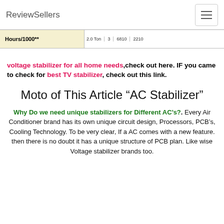ReviewSellers
[Figure (table-as-image): Partial table row showing 'Hours/1000**' label on left with yellow background, and table columns on right showing values: 2.0 Ton, 3, 6810, 2210]
voltage stabilizer for all home needs,check out here. IF you came to check for best TV stabilizer, check out this link.
Moto of This Article “AC Stabilizer”
Why Do we need unique stabilizers for Different AC’s?. Every Air Conditioner brand has its own unique circuit design, Processors, PCB’s, Cooling Technology. To be very clear, If a AC comes with a new feature. then there is no doubt it has a unique structure of PCB plan. Like wise Voltage stabilizer brands too.